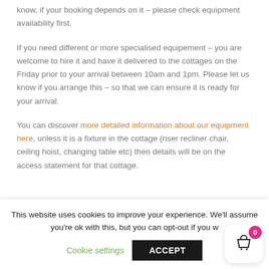know, if your booking depends on it – please check equipment availability first.
If you need different or more specialised equipement – you are welcome to hire it and have it delivered to the cottages on the Friday prior to your arrival between 10am and 1pm. Please let us know if you arrange this – so that we can ensure it is ready for your arrival.
You can discover more detailed information about our equipment here, unless it is a fixture in the cottage (riser recliner chair, ceiling hoist, changing table etc) then details will be on the access statement for that cottage.
This website uses cookies to improve your experience. We'll assume you're ok with this, but you can opt-out if you w
Cookie settings
ACCEPT